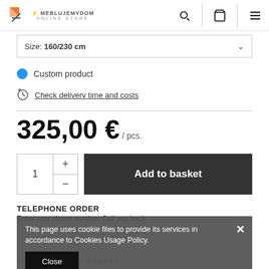MEBLUJEMYDOM ONLINE STORE
Size: 160/230 cm
Custom product
Check delivery time and costs
325,00 € / pcs.
1  +  -  Add to basket
TELEPHONE ORDER
Enter your phone number. Call you back
This page uses cookie files to provide its services in accordance to Cookies Usage Policy.
Close
PARAMETERS OF CARPET: